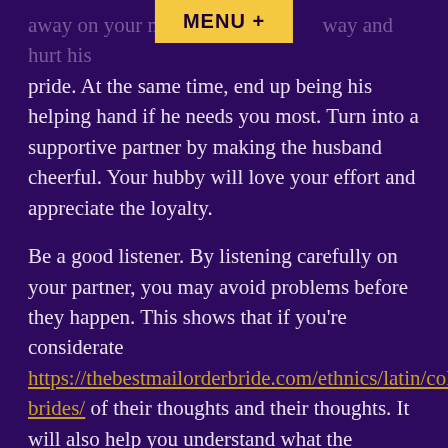MENU +
away on your marriage in an unsuitable way and hurt his pride. At the same time, end up being his helping hand if he needs you most. Turn into a supportive partner by making the husband cheerful. Your hubby will love your effort and appreciate the loyalty.
Be a good listener. By listening carefully on your partner, you may avoid problems before they happen. This shows that if you’re considerate https://thebestmailorderbride.com/ethnics/latin/colombian-brides/ of their thoughts and their thoughts. It will also help you understand what the partner’s intentions will be. A good partner will never take you without any consideration. If your partner is usually unhappy with you, talk to him first. If you’re having a difficult time understanding him will go quite a distance.